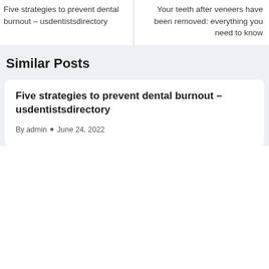Five strategies to prevent dental burnout – usdentistsdirectory
Your teeth after veneers have been removed: everything you need to know
Similar Posts
Five strategies to prevent dental burnout – usdentistsdirectory
By admin • June 24, 2022